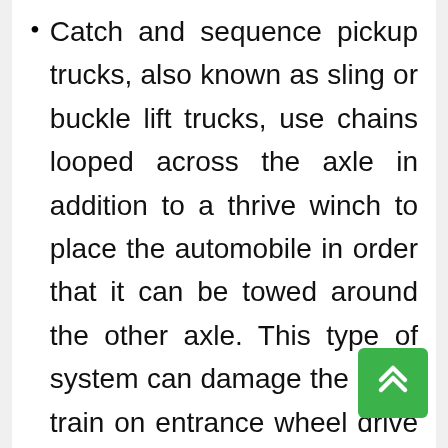Catch and sequence pickup trucks, also known as sling or buckle lift trucks, use chains looped across the axle in addition to a thrive winch to place the automobile in order that it can be towed around the other axle. This type of system can damage the drive train on entrance wheel drive cars and scratch bumpers, but are nevertheless useful for towing automobiles with missing out on